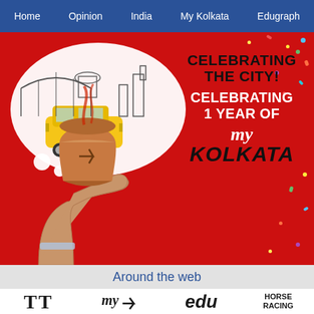Home  Opinion  India  My Kolkata  Edugraph
[Figure (illustration): Red banner celebrating 'My Kolkata' 1 year anniversary. Left side shows a thought bubble with black-and-white illustration of Kolkata landmarks and a yellow Ambassador taxi, plus a hand holding a clay chai cup. Right side shows text on red background: 'CELEBRATING THE CITY! CELEBRATING 1 YEAR OF my KOLKATA' with colorful confetti.]
Around the web
[Figure (logo): Footer logos: TT (Telegraph), my Kolkata arrow logo, edu (Edugraph), HORSE RACING]